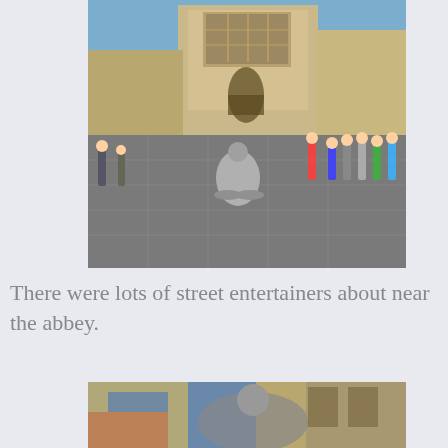[Figure (photo): Street scene in front of Bath Abbey showing a silver-painted street entertainer on a bicycle performing for tourists gathered in the square.]
There were lots of street entertainers about near the abbey.
[Figure (photo): Close-up view of another street performer near the abbey, with the gothic architecture of Bath Abbey visible in the background.]